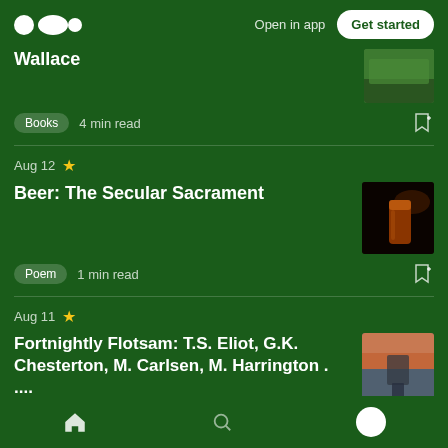Open in app | Get started
Wallace
Books  4 min read
Aug 12
Beer: The Secular Sacrament
Poem  1 min read
Aug 11
Fortnightly Flotsam: T.S. Eliot, G.K. Chesterton, M. Carlsen, M. Harrington . ....
3 min read
Home  Search  Profile